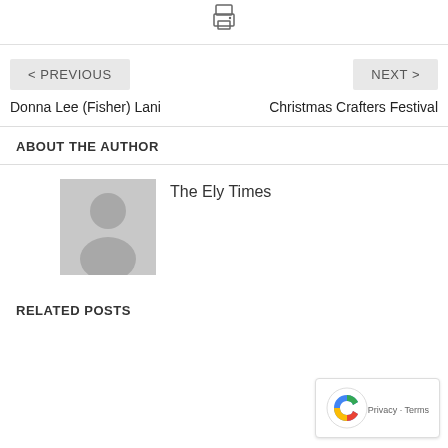[Figure (other): Print icon button at top center]
< PREVIOUS
Donna Lee (Fisher) Lani
NEXT >
Christmas Crafters Festival
ABOUT THE AUTHOR
The Ely Times
RELATED POSTS